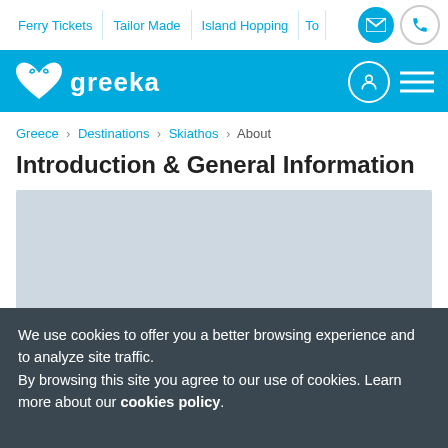Ferry Tickets | Tailor Made | Island Hopping | To...
[Figure (logo): Greeka logo with heart/infinity icon on blue background header bar]
Greece > Destinations > Skiathos > About
Introduction & General Information
[Figure (photo): Light gray image placeholder for Skiathos photo]
We use cookies to offer you a better browsing experience and to analyze site traffic.
By browsing this site you agree to our use of cookies. Learn more about our cookies policy.